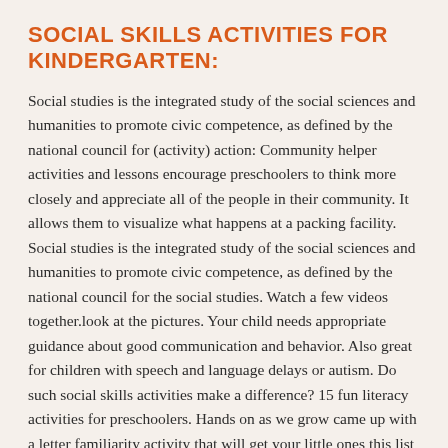SOCIAL SKILLS ACTIVITIES FOR KINDERGARTEN:
Social studies is the integrated study of the social sciences and humanities to promote civic competence, as defined by the national council for (activity) action: Community helper activities and lessons encourage preschoolers to think more closely and appreciate all of the people in their community. It allows them to visualize what happens at a packing facility. Social studies is the integrated study of the social sciences and humanities to promote civic competence, as defined by the national council for the social studies. Watch a few videos together.look at the pictures. Your child needs appropriate guidance about good communication and behavior. Also great for children with speech and language delays or autism. Do such social skills activities make a difference? 15 fun literacy activities for preschoolers. Hands on as we grow came up with a letter familiarity activity that will get your little ones this list of literacy activities for toddlers is a great start for introducing youngsters to letters and